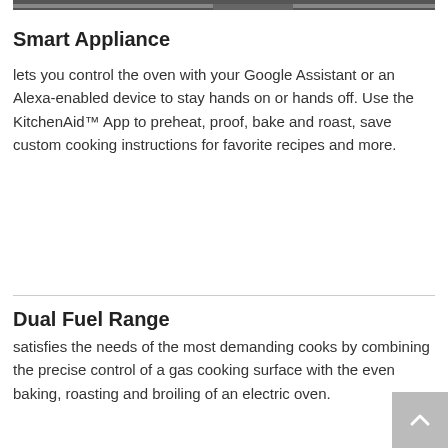[Figure (photo): Partial top strip of a kitchen appliance photograph, dark/grey tones]
Smart Appliance
lets you control the oven with your Google Assistant or an Alexa-enabled device to stay hands on or hands off. Use the KitchenAid™ App to preheat, proof, bake and roast, save custom cooking instructions for favorite recipes and more.
Dual Fuel Range
satisfies the needs of the most demanding cooks by combining the precise control of a gas cooking surface with the even baking, roasting and broiling of an electric oven.